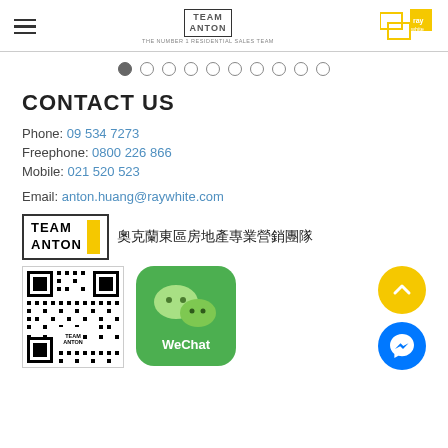Team Anton | Ray White - The Number 1 Residential Sales Team
[Figure (screenshot): Navigation dots, 10 circles with first filled]
CONTACT US
Phone: 09 534 7273
Freephone: 0800 226 866
Mobile: 021 520 523
Email: anton.huang@raywhite.com
[Figure (logo): Team Anton logo with yellow block and Chinese text: 奧克蘭東區房地產專業營銷團隊]
[Figure (other): QR code with Team Anton label in center, WeChat app icon, scroll-to-top yellow button, Facebook Messenger blue button]